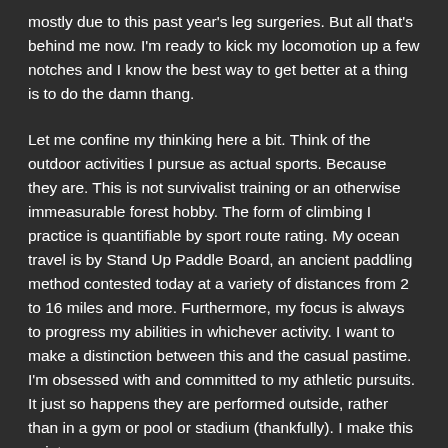mostly due to this past year's leg surgeries. But all that's behind me now. I'm ready to kick my locomotion up a few notches and I know the best way to get better at a thing is to do the damn thang.
Let me confine my thinking here a bit. Think of the outdoor activities I pursue as actual sports. Because they are. This is not survivalist training or an otherwise immeasurable forest hobby. The form of climbing I practice is quantifiable by sport route rating. My ocean travel is by Stand Up Paddle Board, an ancient paddling method contested today at a variety of distances from 2 to 16 miles and more. Furthermore, my focus is always to progress my abilities in whichever activity. I want to make a distinction between this and the casual pastime. I'm obsessed with and committed to my athletic pursuits. It just so happens they are performed outside, rather than in a gym or pool or stadium (thankfully). I make this point